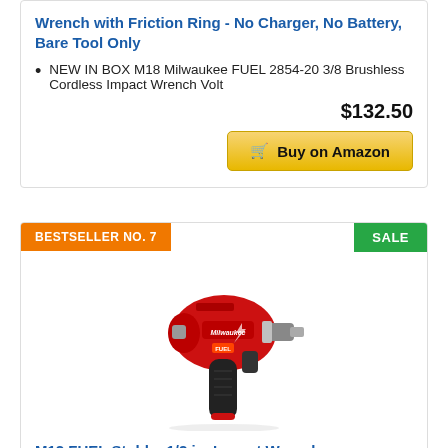Wrench with Friction Ring - No Charger, No Battery, Bare Tool Only
NEW IN BOX M18 Milwaukee FUEL 2854-20 3/8 Brushless Cordless Impact Wrench Volt
$132.50
Buy on Amazon
BESTSELLER NO. 7
SALE
[Figure (photo): Milwaukee M12 FUEL Stubby 1/2 in. Impact Wrench - red and black cordless impact wrench tool]
M12 FUEL Stubby 1/2 in. Impact Wrench